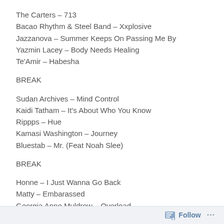The Carters – 713
Bacao Rhythm & Steel Band – Xxplosive
Jazzanova – Summer Keeps On Passing Me By
Yazmin Lacey – Body Needs Healing
Te'Amir – Habesha
BREAK
Sudan Archives – Mind Control
Kaidi Tatham – It's About Who You Know
Rippps – Hue
Kamasi Washington – Journey
Bluestab – Mr. (Feat Noah Slee)
BREAK
Honne – I Just Wanna Go Back
Matty – Embarassed
Georgia Anne Muldrow – Overload
Follow ...